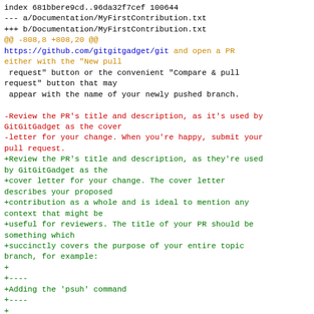index 681bbere9cd..96da32f7cef 100644
--- a/Documentation/MyFirstContribution.txt
+++ b/Documentation/MyFirstContribution.txt
@@ -808,8 +808,20 @@
https://github.com/gitgitgadget/git and open a PR either with the "New pull
 request" button or the convenient "Compare & pull
request" button that may
 appear with the name of your newly pushed branch.

-Review the PR's title and description, as it's used by
GitGitGadget as the cover
-letter for your change. When you're happy, submit your
pull request.
+Review the PR's title and description, as they're used
by GitGitGadget as the
+cover letter for your change. The cover letter
describes your proposed
+contribution as a whole and is ideal to mention any
context that might be
+useful for reviewers. The title of your PR should be
something which
+succinctly covers the purpose of your entire topic
branch, for example:
+
+----
+Adding the 'psuh' command
+----
+
+Your PR's description will used as the body of the